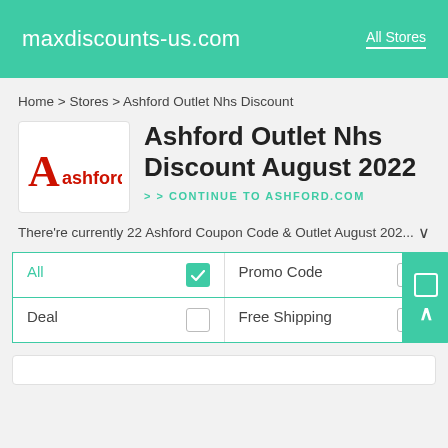maxdiscounts-us.com   All Stores
Home > Stores > Ashford Outlet Nhs Discount
Ashford Outlet Nhs Discount August 2022
> > CONTINUE TO ASHFORD.COM
There're currently 22 Ashford Coupon Code & Outlet August 202...
All   Promo Code   Deal   Free Shipping